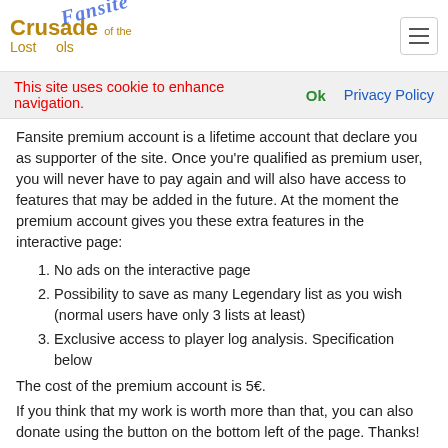Crusade of the Lost Souls - Fansite
This site uses cookie to enhance navigation.  Ok  Privacy Policy
Fansite premium account is a lifetime account that declare you as supporter of the site. Once you're qualified as premium user, you will never have to pay again and will also have access to features that may be added in the future. At the moment the premium account gives you these extra features in the interactive page:
No ads on the interactive page
Possibility to save as many Legendary list as you wish (normal users have only 3 lists at least)
Exclusive access to player log analysis. Specification below
The cost of the premium account is 5€.
If you think that my work is worth more than that, you can also donate using the button on the bottom left of the page. Thanks!
Log in to fansite to make the purchase
Player log analysis